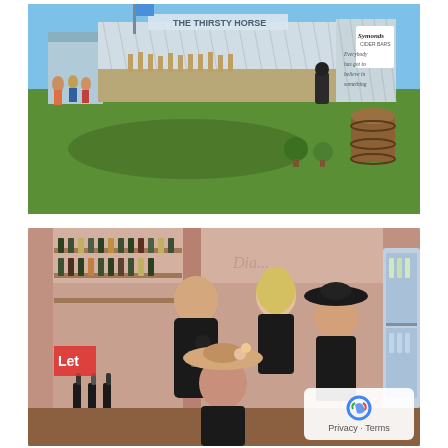[Figure (photo): Outdoor festival bar called 'The Thirsty Horse' with a chevron-patterned exterior, open serving counter showing bottles, customers queuing on grass, potted topiary plants, a wooden barrel, and a Symonds cider sign. Blue sky and green grass visible.]
[Figure (photo): Indoor bar scene with four young staff members wearing black Symonds uniforms. Bottles on shelves behind them, refrigerator with drinks visible to the right, pink decor. A Google reCAPTCHA 'Privacy - Terms' badge overlaid in bottom right corner.]